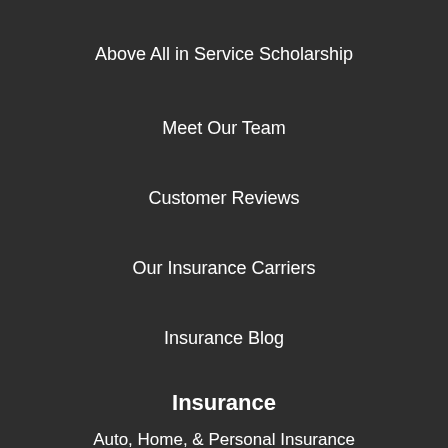Above All in Service Scholarship
Meet Our Team
Customer Reviews
Our Insurance Carriers
Insurance Blog
Insurance
Auto, Home, & Personal Insurance